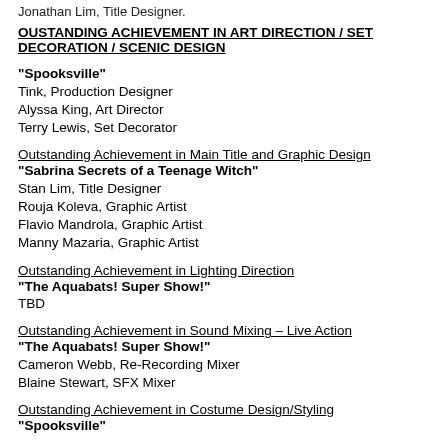Jonathan Lim, Title Designer.
OUSTANDING ACHIEVEMENT IN ART DIRECTION / SET DECORATION / SCENIC DESIGN
"Spooksville"
Tink, Production Designer
Alyssa King, Art Director
Terry Lewis, Set Decorator
Outstanding Achievement in Main Title and Graphic Design
"Sabrina Secrets of a Teenage Witch"
Stan Lim, Title Designer
Rouja Koleva, Graphic Artist
Flavio Mandrola, Graphic Artist
Manny Mazaria, Graphic Artist
Outstanding Achievement in Lighting Direction
"The Aquabats! Super Show!"
TBD
Outstanding Achievement in Sound Mixing – Live Action
"The Aquabats! Super Show!"
Cameron Webb, Re-Recording Mixer
Blaine Stewart, SFX Mixer
Outstanding Achievement in Costume Design/Styling
"Spooksville"